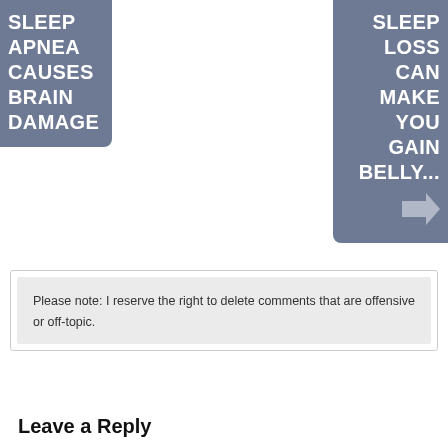SLEEP APNEA CAUSES BRAIN DAMAGE
SLEEP LOSS CAN MAKE YOU GAIN BELLY...
Please note: I reserve the right to delete comments that are offensive or off-topic.
Leave a Reply